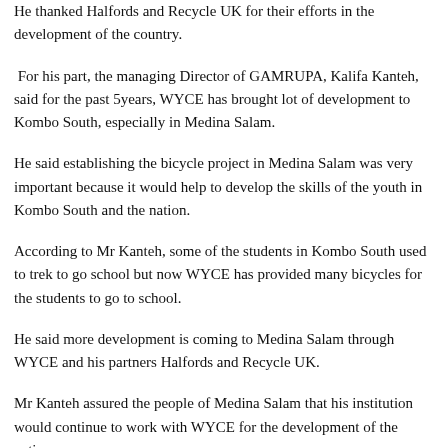He thanked Halfords and Recycle UK for their efforts in the development of the country.
For his part, the managing Director of GAMRUPA, Kalifa Kanteh, said for the past 5years, WYCE has brought lot of development to Kombo South, especially in Medina Salam.
He said establishing the bicycle project in Medina Salam was very important because it would help to develop the skills of the youth in Kombo South and the nation.
According to Mr Kanteh, some of the students in Kombo South used to trek to go school but now WYCE has provided many bicycles for the students to go to school.
He said more development is coming to Medina Salam through WYCE and his partners Halfords and Recycle UK.
Mr Kanteh assured the people of Medina Salam that his institution would continue to work with WYCE for the development of the nation.